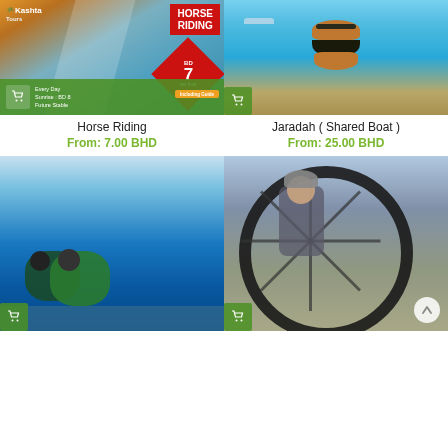[Figure (photo): Horse riding promotional image with Kashta Tours logo, 'HORSE RIDING' text in red box, price badge BD7 per hour, and green footer with cart icon and text 'Every Day Sunrise: BD 8 Future Stable']
[Figure (photo): Jaradah island photo showing turquoise sea water with a burger prop held up, boats in background, cart icon at bottom left]
Horse Riding
Jaradah ( Shared Boat )
From: 7.00 BHD
From: 25.00 BHD
[Figure (photo): Scuba diving photo showing two divers in bright blue water with green wetsuits]
[Figure (photo): Cycling photo showing a woman in helmet smiling through a large bicycle wheel]